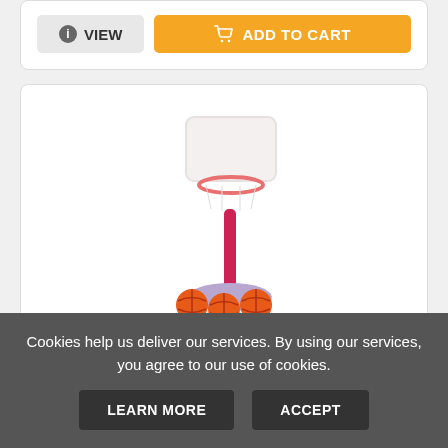[Figure (other): VIEW and ADD TO CART buttons at top of product listing card]
[Figure (photo): Little Tikes Easy Score Basketball Set product image — pink/red adjustable basketball hoop stand with white backboard, purple base, and three orange basketballs]
Little Tikes Easy Score Basketball Set, ...
Cookies help us deliver our services. By using our services, you agree to our use of cookies.
LEARN MORE
ACCEPT